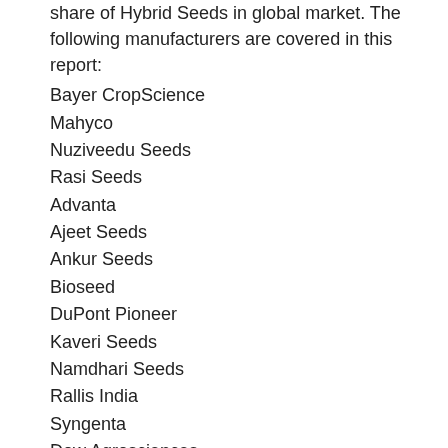share of Hybrid Seeds in global market. The following manufacturers are covered in this report:
Bayer CropScience
Mahyco
Nuziveedu Seeds
Rasi Seeds
Advanta
Ajeet Seeds
Ankur Seeds
Bioseed
DuPont Pioneer
Kaveri Seeds
Namdhari Seeds
Rallis India
Syngenta
Dow Agrosciences
Hybrid Seeds Breakdown Data by Type
By Seed Treatment